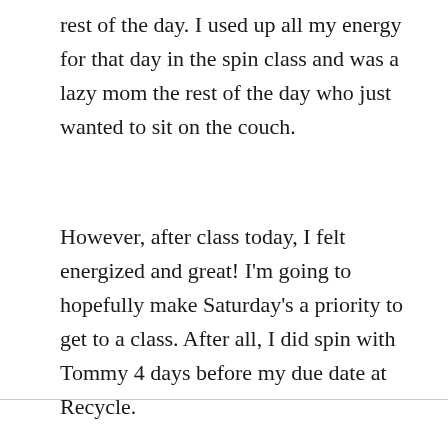rest of the day. I used up all my energy for that day in the spin class and was a lazy mom the rest of the day who just wanted to sit on the couch.
However, after class today, I felt energized and great! I'm going to hopefully make Saturday's a priority to get to a class. After all, I did spin with Tommy 4 days before my due date at Recycle.